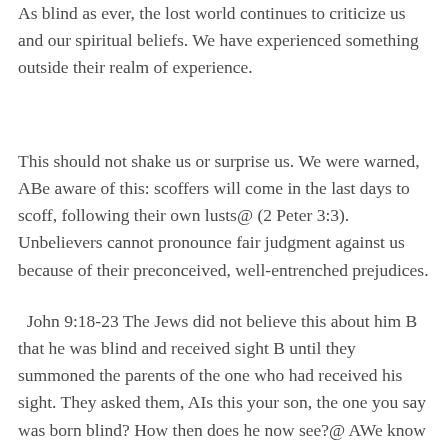As blind as ever, the lost world continues to criticize us and our spiritual beliefs. We have experienced something outside their realm of experience.
This should not shake us or surprise us. We were warned, ABe aware of this: scoffers will come in the last days to scoff, following their own lusts@ (2 Peter 3:3). Unbelievers cannot pronounce fair judgment against us because of their preconceived, well-entrenched prejudices.
John 9:18-23 The Jews did not believe this about him B that he was blind and received sight B until they summoned the parents of the one who had received his sight. They asked them, AIs this your son, the one you say was born blind? How then does he now see?@ AWe know this is our son and that he was born blind,@ his parents answered. ABut we don=t know how he now sees, and we don=t know who opened his eyes. Ask him; he=s of age. He will speak for himself.@ His